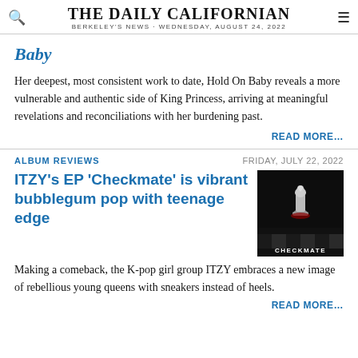THE DAILY CALIFORNIAN
BERKELEY'S NEWS · WEDNESDAY, AUGUST 24, 2022
Baby
Her deepest, most consistent work to date, Hold On Baby reveals a more vulnerable and authentic side of King Princess, arriving at meaningful revelations and reconciliations with her burdening past.
READ MORE…
ALBUM REVIEWS
FRIDAY, JULY 22, 2022
ITZY's EP 'Checkmate' is vibrant bubblegum pop with teenage edge
[Figure (photo): Album cover for ITZY's Checkmate EP — dark background with chess piece and the word CHECKMATE at the bottom]
Making a comeback, the K-pop girl group ITZY embraces a new image of rebellious young queens with sneakers instead of heels.
READ MORE…